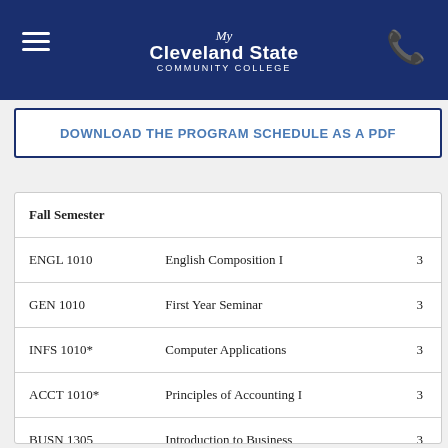My Cleveland State Community College
DOWNLOAD THE PROGRAM SCHEDULE AS A PDF
| Course | Name | Credits |
| --- | --- | --- |
| Fall Semester |  |  |
| ENGL 1010 | English Composition I | 3 |
| GEN 1010 | First Year Seminar | 3 |
| INFS 1010* | Computer Applications | 3 |
| ACCT 1010* | Principles of Accounting I | 3 |
| BUSN 1305 | Introduction to Business | 3 |
| BUSN 1320* | Business Calculations | 3 |